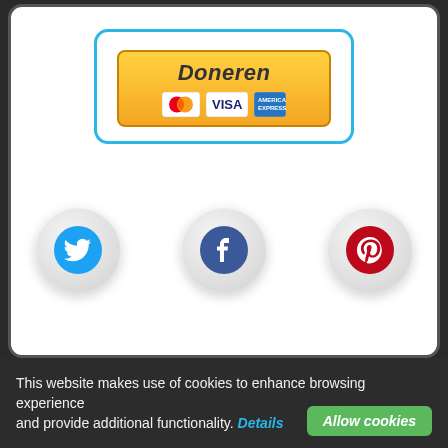[Figure (screenshot): PayPal Doneren (Donate) button with Mastercard, VISA, and American Express card icons, inside a rounded blue-bordered box]
[Figure (infographic): Three social media icon buttons: Twitter (blue bird), Facebook (dark blue f), Pinterest (red P), each in circular embossed button style]
This website makes use of cookies to enhance browsing experience and provide additional functionality. Details
Allow cookies